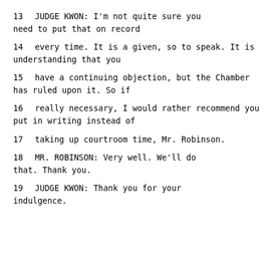13         JUDGE KWON:  I'm not quite sure you need to put that on record
14     every time.  It is a given, so to speak.  It is understanding that you
15     have a continuing objection, but the Chamber has ruled upon it.  So if
16     really necessary, I would rather recommend you put in writing instead of
17     taking up courtroom time, Mr. Robinson.
18             MR. ROBINSON:  Very well.  We'll do that.  Thank you.
19             JUDGE KWON:  Thank you for your indulgence.